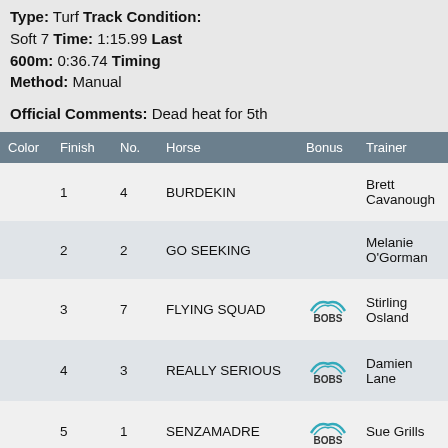Type: Turf Track Condition: Soft 7 Time: 1:15.99 Last 600m: 0:36.74 Timing Method: Manual
Official Comments: Dead heat for 5th
| Color | Finish | No. | Horse | Bonus | Trainer | Jock... |
| --- | --- | --- | --- | --- | --- | --- |
|  | 1 | 4 | BURDEKIN |  | Brett Cavanough | Jack Sear... (a1.5... |
|  | 2 | 2 | GO SEEKING |  | Melanie O'Gorman | Jarro Wood... |
|  | 3 | 7 | FLYING SQUAD | BOBS | Stirling Osland | Ms E Stow... |
|  | 4 | 3 | REALLY SERIOUS | BOBS | Damien Lane | Ashl Morg... |
|  | 5 | 1 | SENZAMADRE | BOBS | Sue Grills | Jaco Gold... (a2/5... |